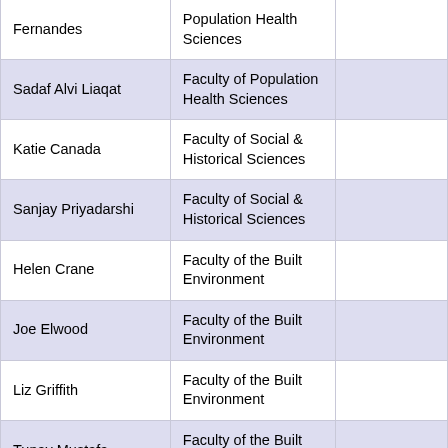| Name | Faculty/Unit | Category |
| --- | --- | --- |
| Fernandes | Population Health Sciences |  |
| Sadaf Alvi Liaqat | Faculty of Population Health Sciences |  |
| Katie Canada | Faculty of Social & Historical Sciences |  |
| Sanjay Priyadarshi | Faculty of Social & Historical Sciences |  |
| Helen Crane | Faculty of the Built Environment |  |
| Joe Elwood | Faculty of the Built Environment |  |
| Liz Griffith | Faculty of the Built Environment |  |
| Tunay Mustafa | Faculty of the Built Environment |  |
| Vijay Devineni | Faculty of the Built Environment |  |
| John Pelan | Gatsby Computational Neuroscience Unit | Life Sciences |
| Mike Sainsbury | Gatsby Computational | Life |